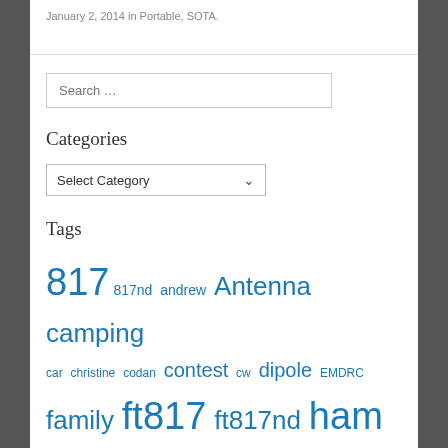January 2, 2014 in Portable, SOTA.
Search …
Categories
Select Category
Tags
817 817nd andrew Antenna camping car christine codan contest cw dipole EMDRC family ft817 ft817nd ham HF holiday icom microwave mountain nathan park portable power qrp radio software solder sota ssb toby trip UHF vhf vk2 vk3 vk2hq